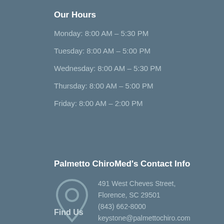Our Hours
Monday: 8:00 AM – 5:30 PM
Tuesday: 8:00 AM – 5:00 PM
Wednesday: 8:00 AM – 5:30 PM
Thursday: 8:00 AM – 5:00 PM
Friday: 8:00 AM – 2:00 PM
Palmetto ChiroMed's Contact Info
491 West Cheves Street, Florence, SC 29501
(843) 662-8000
keystone@palmettochiro.com
Find Us